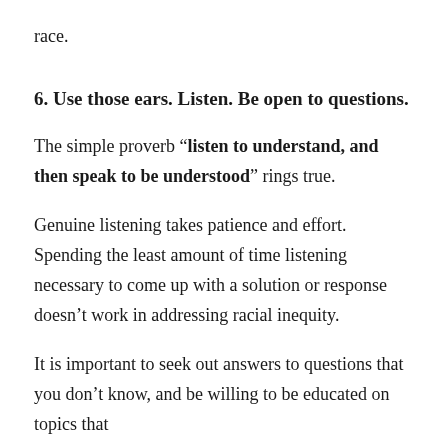race.
6. Use those ears. Listen. Be open to questions.
The simple proverb “listen to understand, and then speak to be understood” rings true.
Genuine listening takes patience and effort. Spending the least amount of time listening necessary to come up with a solution or response doesn’t work in addressing racial inequity.
It is important to seek out answers to questions that you don’t know, and be willing to be educated on topics that